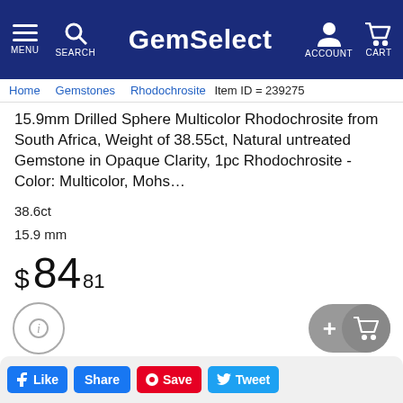GemSelect — MENU SEARCH ACCOUNT CART
Home > Gemstones > Rhodochrosite  Item ID = 239275
15.9mm Drilled Sphere Multicolor Rhodochrosite from South Africa, Weight of 38.55ct, Natural untreated Gemstone in Opaque Clarity, 1pc Rhodochrosite - Color: Multicolor, Mohs...
38.6ct
15.9 mm
$ 84 81
Buy Now